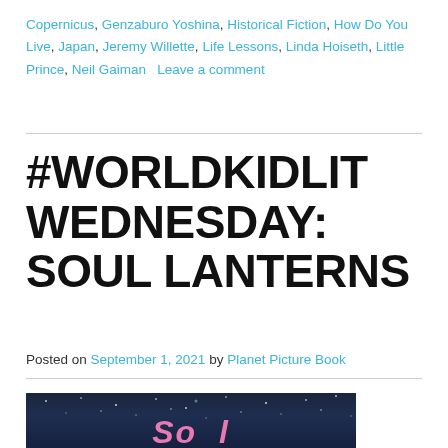Copernicus, Genzaburo Yoshina, Historical Fiction, How Do You Live, Japan, Jeremy Willette, Life Lessons, Linda Hoiseth, Little Prince, Neil Gaiman   Leave a comment
#WORLDKIDLIT WEDNESDAY: SOUL LANTERNS
Posted on September 1, 2021 by Planet Picture Book
[Figure (photo): Dark blue/navy background book cover showing pink cursive text partially visible at the bottom, with small white star dots scattered in the background.]